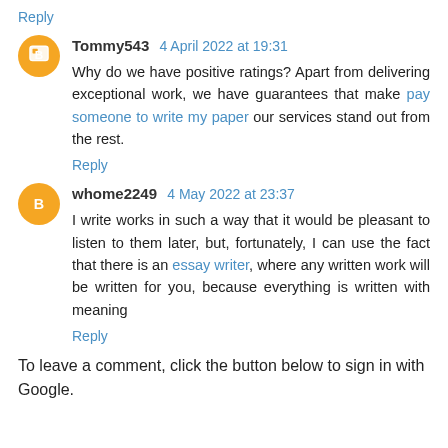Reply
Tommy543  4 April 2022 at 19:31
Why do we have positive ratings? Apart from delivering exceptional work, we have guarantees that make pay someone to write my paper our services stand out from the rest.
Reply
whome2249  4 May 2022 at 23:37
I write works in such a way that it would be pleasant to listen to them later, but, fortunately, I can use the fact that there is an essay writer, where any written work will be written for you, because everything is written with meaning
Reply
To leave a comment, click the button below to sign in with Google.